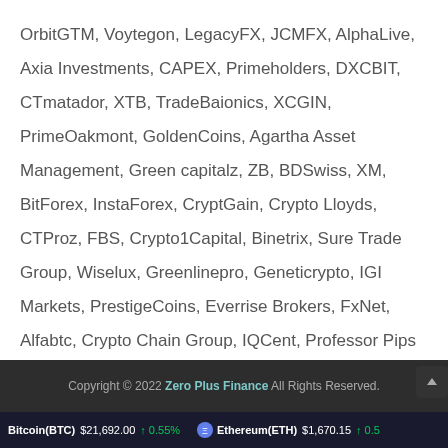OrbitGTM, Voytegon, LegacyFX, JCMFX, AlphaLive, Axia Investments, CAPEX, Primeholders, DXCBIT, CTmatador, XTB, TradeBaionics, XCGIN, PrimeOakmont, GoldenCoins, Agartha Asset Management, Green capitalz, ZB, BDSwiss, XM, BitForex, InstaForex, CryptGain, Crypto Lloyds, CTProz, FBS, Crypto1Capital, Binetrix, Sure Trade Group, Wiselux, Greenlinepro, Geneticrypto, IGI Markets, PrestigeCoins, Everrise Brokers, FxNet, Alfabtc, Crypto Chain Group, IQCent, Professor Pips Academy, Synergy FX,
Copyright © 2022 Zero Plus Finance All Rights Reserved.
Bitcoin(BTC) $21,692.00 ↑ 0.55% Ethereum(ETH) $1,670.15 ↑ 0.5...